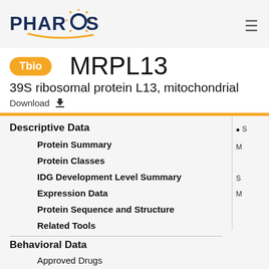PHAROS
MRPL13
39S ribosomal protein L13, mitochondrial
Download
Descriptive Data
Protein Summary
Protein Classes
IDG Development Level Summary
Expression Data
Protein Sequence and Structure
Related Tools
Behavioral Data
Approved Drugs